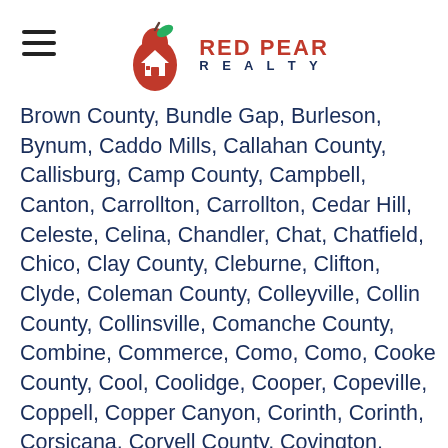Red Pear Realty
Brown County, Bundle Gap, Burleson, Bynum, Caddo Mills, Callahan County, Callisburg, Camp County, Campbell, Canton, Carrollton, Carrollton, Cedar Hill, Celeste, Celina, Chandler, Chat, Chatfield, Chico, Clay County, Cleburne, Clifton, Clyde, Coleman County, Colleyville, Collin County, Collinsville, Comanche County, Combine, Commerce, Como, Como, Cooke County, Cool, Coolidge, Cooper, Copeville, Coppell, Copper Canyon, Corinth, Corinth, Corsicana, Coryell County, Covington, Crandall, Cranfills Gap, Cresson, Cross Plains, Crossroads, Crowley, Cumby, Cumby, Dallas, Dallas County, Dalworthington Gardens, Dawson, De Soto, Decatur, Delta County, Denison, Dennis, Denton County, Dike, Dike, Dodd City, Dorchester, Double Oak, Dublin, Duncanville, East Tawakoni,